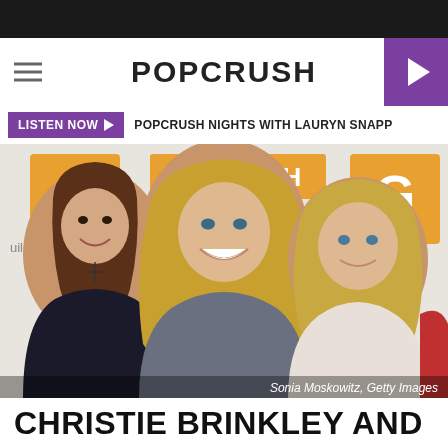POPCRUSH
LISTEN NOW ▶  POPCRUSH NIGHTS WITH LAURYN SNAPP
[Figure (photo): Three women posing in front of a Guild Hall backdrop. Left: young brunette woman with long hair wearing a cross necklace. Center: older blonde woman with long wavy hair in a gray top. Right: younger blonde woman in a white lace top. Photo credit: Sonia Moskowitz, Getty Images]
Sonia Moskowitz, Getty Images
CHRISTIE BRINKLEY AND